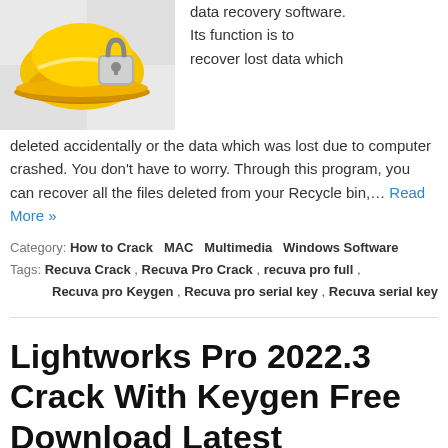[Figure (illustration): Yellow hard hat with a padlock/recovery icon, software application icon for data recovery software]
data recovery software. Its function is to recover lost data which deleted accidentally or the data which was lost due to computer crashed. You don't have to worry. Through this program, you can recover all the files deleted from your Recycle bin,… Read More »
Category: How to Crack  MAC  Multimedia  Windows Software
Tags: Recuva Crack , Recuva Pro Crack , recuva pro full , Recuva pro Keygen , Recuva pro serial key , Recuva serial key
Lightworks Pro 2022.3 Crack With Keygen Free Download Latest
Lightworks Pro 2022.3